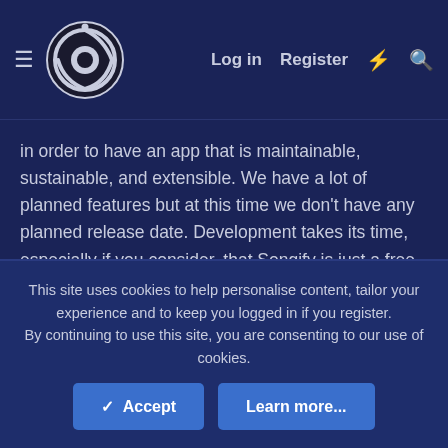Log in   Register
in order to have an app that is maintainable, sustainable, and extensible. We have a lot of planned features but at this time we don't have any planned release date. Development takes its time, especially if you consider, that Songify is just a free-time project of two friends. If you want to keep up with the development, feel free to join our Discord.
Changes:
Additions:
This site uses cookies to help personalise content, tailor your experience and to keep you logged in if you register.
By continuing to use this site, you are consenting to our use of cookies.
✓ Accept   Learn more...